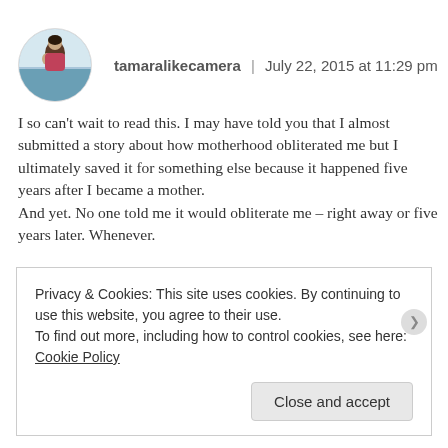tamaralikecamera | July 22, 2015 at 11:29 pm
I so can't wait to read this. I may have told you that I almost submitted a story about how motherhood obliterated me but I ultimately saved it for something else because it happened five years after I became a mother.
And yet. No one told me it would obliterate me – right away or five years later. Whenever.
Privacy & Cookies: This site uses cookies. By continuing to use this website, you agree to their use.
To find out more, including how to control cookies, see here: Cookie Policy
Close and accept